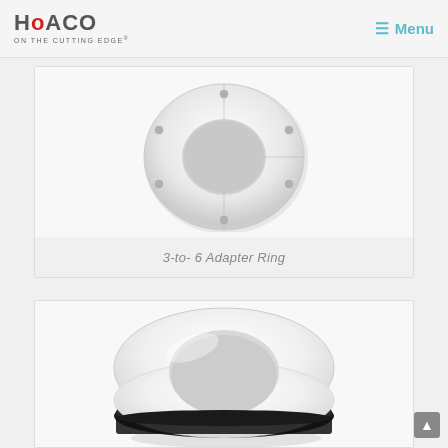HOACO ON THE CUTTING EDGE®   ≡ Menu
[Figure (photo): White flat adapter ring with holes, horseshoe/crescent shape, viewed from above]
3-to- 6 Adapter Ring
[Figure (photo): White circular ring/gasket with black rubber O-ring seal on bottom edge, thick donut shape, viewed from slight angle]